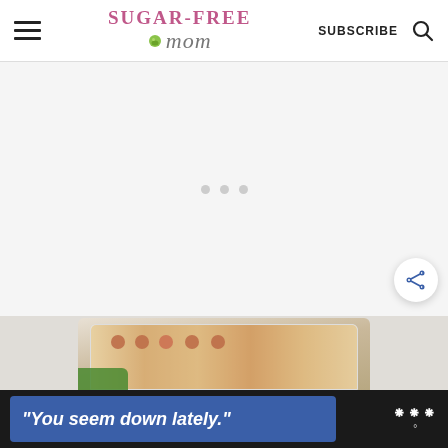Sugar-Free Mom | SUBSCRIBE
[Figure (other): Advertisement placeholder area with three small grey dots in center]
[Figure (photo): Baked casserole dish with meatballs and cheese, with green vegetables visible, on a light background]
[Figure (screenshot): Bottom banner ad with dark background showing blue box with italic text: "You seem down lately." and a small logo on the right]